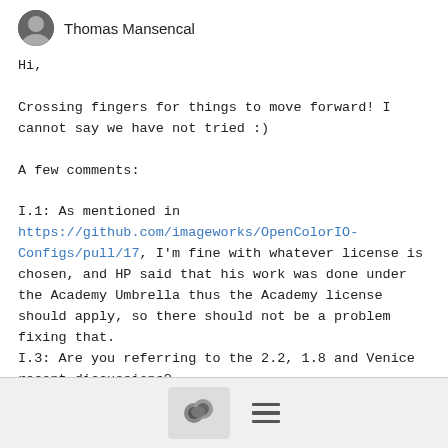Thomas Mansencal
Hi,

Crossing fingers for things to move forward! I cannot say we have not tried :)

A few comments:

I.1: As mentioned in https://github.com/imageworks/OpenColorIO-Configs/pull/17, I'm fine with whatever license is chosen, and HP said that his work was done under the Academy Umbrella thus the Academy license should apply, so there should not be a problem fixing that.
I.3: Are you referring to the 2.2, 1.8 and Venice recent discussions?